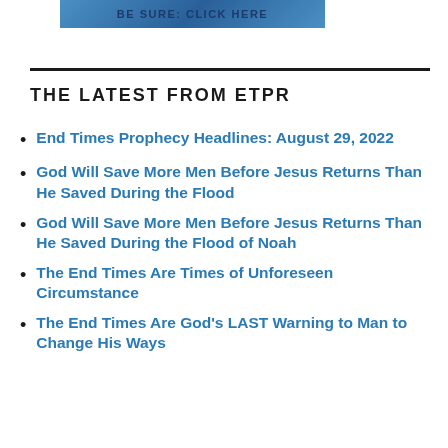[Figure (screenshot): Banner image with blue gradient background and bold dark blue text reading 'BE SURE: CLICK HERE']
THE LATEST FROM ETPR
End Times Prophecy Headlines: August 29, 2022
God Will Save More Men Before Jesus Returns Than He Saved During the Flood
God Will Save More Men Before Jesus Returns Than He Saved During the Flood of Noah
The End Times Are Times of Unforeseen Circumstance
The End Times Are God's LAST Warning to Man to Change His Ways